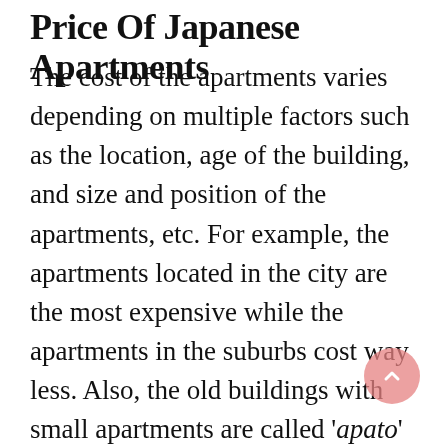Price Of Japanese Apartments
The cost of the apartments varies depending on multiple factors such as the location, age of the building, and size and position of the apartments, etc. For example, the apartments located in the city are the most expensive while the apartments in the suburbs cost way less. Also, the old buildings with small apartments are called 'apato' while the newer modern buildings with larger apartments are called mansions. Without any doubt, mansions are more comfortable and much more expensive. Another thing that affects the price of the apartments in Japan is that